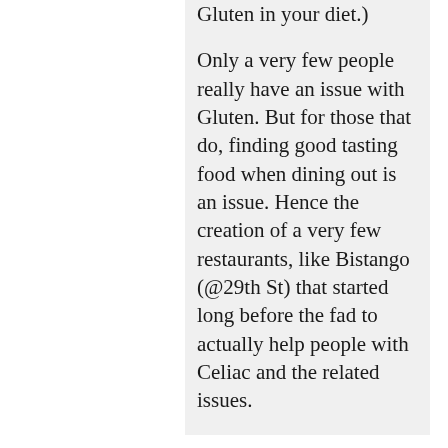Gluten in your diet.)
Only a very few people really have an issue with Gluten. But for those that do, finding good tasting food when dining out is an issue. Hence the creation of a very few restaurants, like Bistango (@29th St) that started long before the fad to actually help people with Celiac and the related issues.